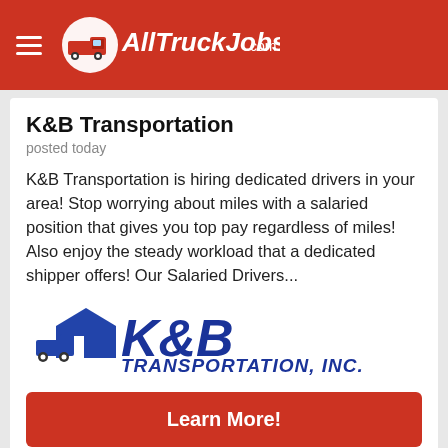AllTruckJobs.com
K&B Transportation
posted today
K&B Transportation is hiring dedicated drivers in your area!  Stop worrying about miles with a salaried position that gives you top pay regardless of miles!  Also enjoy the steady workload that a dedicated shipper offers!   Our Salaried Drivers...
[Figure (logo): K&B Transportation, Inc. logo with truck graphic]
Learn More!
Michigan
Dedicated Drivers in Michigan -